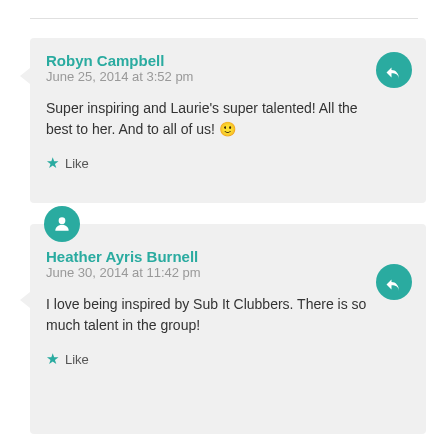Robyn Campbell
June 25, 2014 at 3:52 pm
Super inspiring and Laurie's super talented! All the best to her. And to all of us! :)
Like
Heather Ayris Burnell
June 30, 2014 at 11:42 pm
I love being inspired by Sub It Clubbers. There is so much talent in the group!
Like